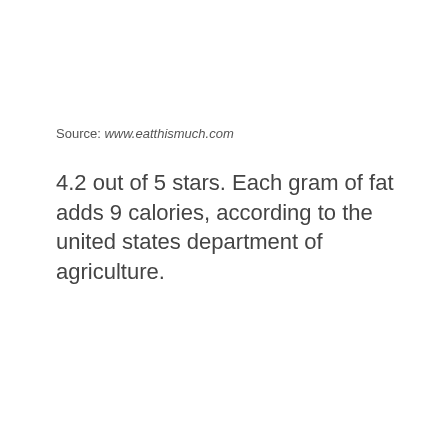Source: www.eatthismuch.com
4.2 out of 5 stars. Each gram of fat adds 9 calories, according to the united states department of agriculture.